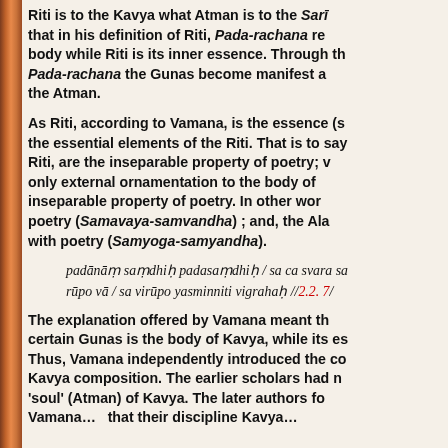Riti is to the Kavya what Atman is to the Sarī… that in his definition of Riti, Pada-rachana re… body while Riti is its inner essence. Through th… Pada-rachana the Gunas become manifest a… the Atman.
As Riti, according to Vamana, is the essence (s… the essential elements of the Riti. That is to say… Riti, are the inseparable property of poetry; v… only external ornamentation to the body of … inseparable property of poetry. In other wor… poetry (Samavaya-samvandha) ; and, the Ala… with poetry (Samyoga-samyandha).
The explanation offered by Vamana meant th… certain Gunas is the body of Kavya, while its es… Thus, Vamana independently introduced the c… Kavya composition. The earlier scholars had n… 'soul' (Atman) of Kavya. The later authors f… Vamana a… that their discipline Kavya…